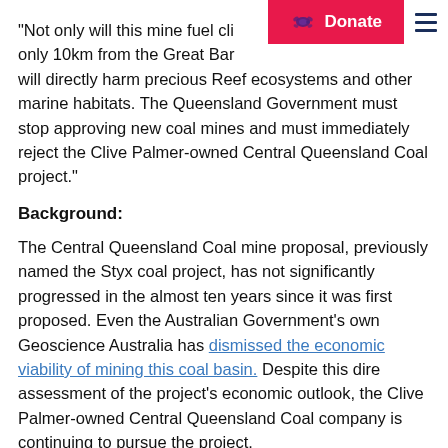Donate [turtle icon] | hamburger menu
“Not only will this mine fuel cli... only 10km from the Great Bar... will directly harm precious Reef ecosystems and other marine habitats. The Queensland Government must stop approving new coal mines and must immediately reject the Clive Palmer-owned Central Queensland Coal project.”
Background:
The Central Queensland Coal mine proposal, previously named the Styx coal project, has not significantly progressed in the almost ten years since it was first proposed. Even the Australian Government’s own Geoscience Australia has dismissed the economic viability of mining this coal basin. Despite this dire assessment of the project’s economic outlook, the Clive Palmer-owned Central Queensland Coal company is continuing to pursue the project.